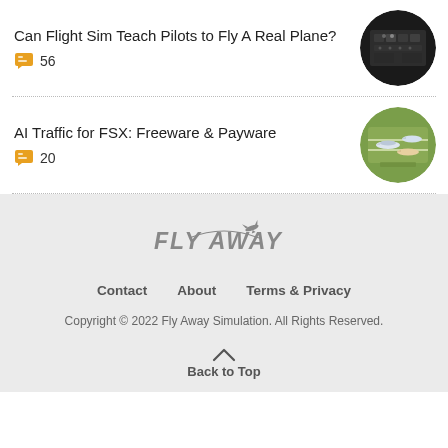Can Flight Sim Teach Pilots to Fly A Real Plane?
56
AI Traffic for FSX: Freeware & Payware
20
[Figure (logo): Fly Away simulation logo in gray italic bold text with aircraft silhouette]
Contact   About   Terms & Privacy
Copyright © 2022 Fly Away Simulation. All Rights Reserved.
Back to Top